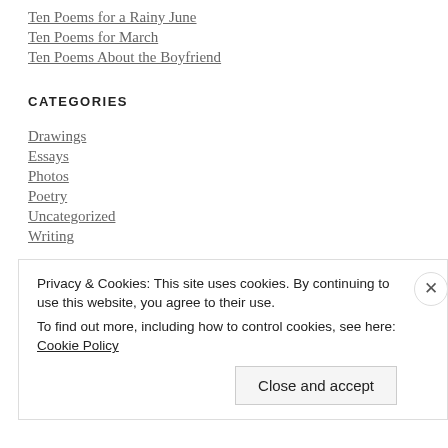Ten Poems for a Rainy June
Ten Poems for March
Ten Poems About the Boyfriend
CATEGORIES
Drawings
Essays
Photos
Poetry
Uncategorized
Writing
Privacy & Cookies: This site uses cookies. By continuing to use this website, you agree to their use.
To find out more, including how to control cookies, see here: Cookie Policy